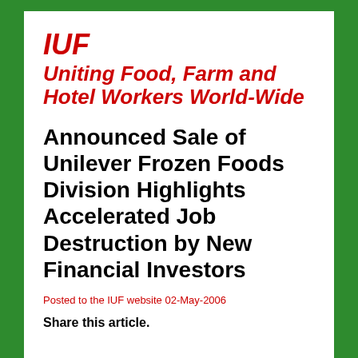IUF
Uniting Food, Farm and Hotel Workers World-Wide
Announced Sale of Unilever Frozen Foods Division Highlights Accelerated Job Destruction by New Financial Investors
Posted to the IUF website 02-May-2006
Share this article.